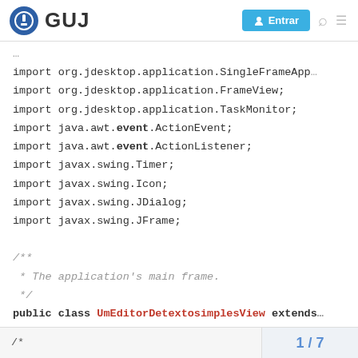GUJ — Entrar
import org.jdesktop.application.SingleFrameApp...
import org.jdesktop.application.FrameView;
import org.jdesktop.application.TaskMonitor;
import java.awt.event.ActionEvent;
import java.awt.event.ActionListener;
import javax.swing.Timer;
import javax.swing.Icon;
import javax.swing.JDialog;
import javax.swing.JFrame;

/**
 * The application's main frame.
 */
public class UmEditorDetextosimplesView extends...

    public UmEditorDetextosimplesView(SingleFra...
/*   1 / 7